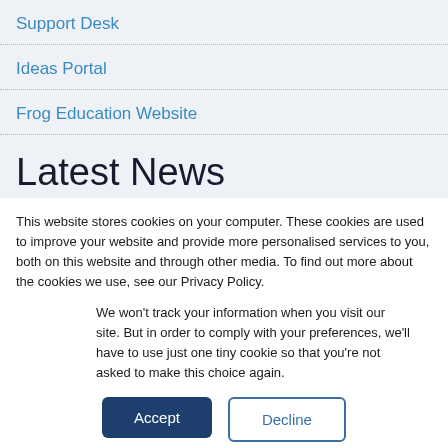Support Desk
Ideas Portal
Frog Education Website
Latest News
This website stores cookies on your computer. These cookies are used to improve your website and provide more personalised services to you, both on this website and through other media. To find out more about the cookies we use, see our Privacy Policy.
We won't track your information when you visit our site. But in order to comply with your preferences, we'll have to use just one tiny cookie so that you're not asked to make this choice again.
Accept
Decline